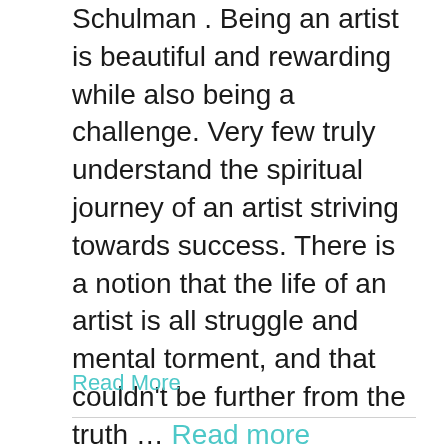Schulman . Being an artist is beautiful and rewarding while also being a challenge. Very few truly understand the spiritual journey of an artist striving towards success. There is a notion that the life of an artist is all struggle and mental torment, and that couldn't be further from the truth … Read more
Read More